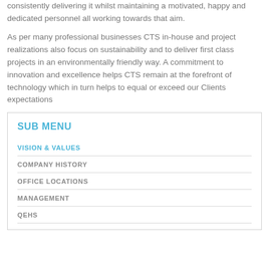consistently delivering it whilst maintaining a motivated, happy and dedicated personnel all working towards that aim.
As per many professional businesses CTS in-house and project realizations also focus on sustainability and to deliver first class projects in an environmentally friendly way. A commitment to innovation and excellence helps CTS remain at the forefront of technology which in turn helps to equal or exceed our Clients expectations
SUB MENU
VISION & VALUES
COMPANY HISTORY
OFFICE LOCATIONS
MANAGEMENT
QEHS